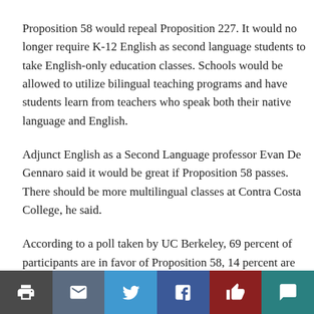Proposition 58 would repeal Proposition 227. It would no longer require K-12 English as second language students to take English-only education classes. Schools would be allowed to utilize bilingual teaching programs and have students learn from teachers who speak both their native language and English.
Adjunct English as a Second Language professor Evan De Gennaro said it would be great if Proposition 58 passes. There should be more multilingual classes at Contra Costa College, he said.
According to a poll taken by UC Berkeley, 69 percent of participants are in favor of Proposition 58, 14 percent are against it and 17 percent are undecided. The poll had a sample size of 484 participants.
[Figure (infographic): Social sharing bar with six buttons: print (dark gray), email (slate blue), Twitter (blue), Facebook (dark blue), like/thumbs up (dark red), comment (teal)]